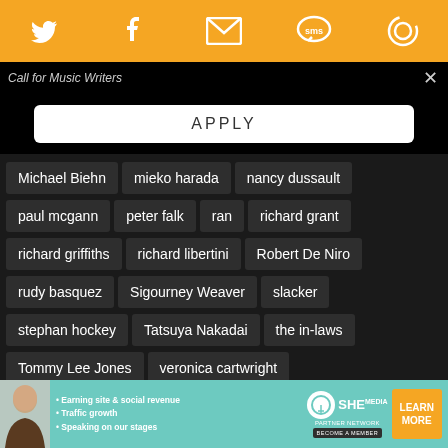Twitter, Facebook, Email, SMS, Refresh icons
Call for Music Writers
APPLY
Michael Biehn
mieko harada
nancy dussault
paul mcgann
peter falk
ran
richard grant
richard griffiths
richard libertini
Robert De Niro
rudy basquez
Sigourney Weaver
slacker
stephan hockey
Tatsuya Nakadai
the in-laws
Tommy Lee Jones
veronica cartwright
werner herzog
Withnail and I
SHE PARTNER NETWORK - Earning site & social revenue - Traffic growth - Speaking on our stages - BECOME A MEMBER - LEARN MORE